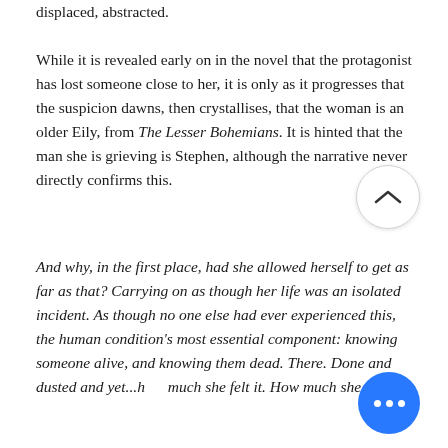displaced, abstracted.
While it is revealed early on in the novel that the protagonist has lost someone close to her, it is only as it progresses that the suspicion dawns, then crystallises, that the woman is an older Eily, from The Lesser Bohemians. It is hinted that the man she is grieving is Stephen, although the narrative never directly confirms this.
And why, in the first place, had she allowed herself to get as far as that? Carrying on as though her life was an isolated incident. As though no one else had ever experienced this, the human condition's most essential component: knowing someone alive, and knowing them dead. There. Done and dusted and yet...how much she felt it. How much she feels it.